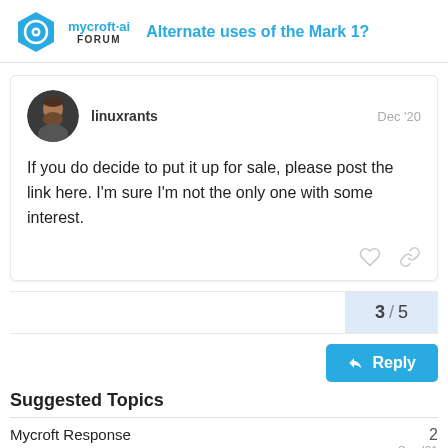mycroft·ai FORUM — Alternate uses of the Mark 1?
linuxrants  Dec '20
If you do decide to put it up for sale, please post the link here. I'm sure I'm not the only one with some interest.
3 / 5
Reply
Suggested Topics
Mycroft Response  2  Sep '21
How close is Mycroft to being in Ubuntu  1